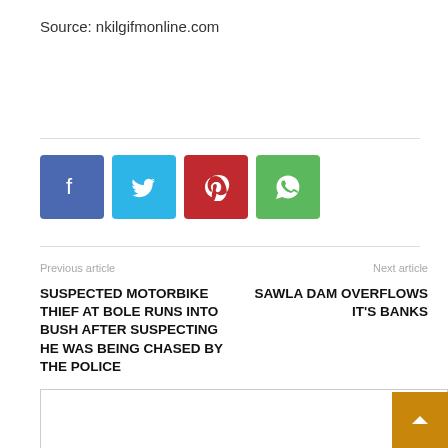Source: nkilgifmonline.com
[Figure (infographic): Social sharing buttons: Facebook (blue), Twitter (light blue), Pinterest (red), WhatsApp (green)]
Previous article
Next article
SUSPECTED MOTORBIKE THIEF AT BOLE RUNS INTO BUSH AFTER SUSPECTING HE WAS BEING CHASED BY THE POLICE
SAWLA DAM OVERFLOWS IT'S BANKS